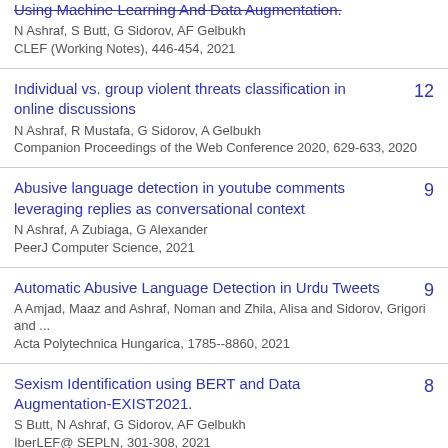Using Machine Learning And Data Augmentation.
N Ashraf, S Butt, G Sidorov, AF Gelbukh
CLEF (Working Notes), 446-454, 2021
Individual vs. group violent threats classification in online discussions
N Ashraf, R Mustafa, G Sidorov, A Gelbukh
Companion Proceedings of the Web Conference 2020, 629-633, 2020
12
Abusive language detection in youtube comments leveraging replies as conversational context
N Ashraf, A Zubiaga, G Alexander
PeerJ Computer Science, 2021
9
Automatic Abusive Language Detection in Urdu Tweets
A Amjad, Maaz and Ashraf, Noman and Zhila, Alisa and Sidorov, Grigori and ...
Acta Polytechnica Hungarica, 1785--8860, 2021
9
Sexism Identification using BERT and Data Augmentation-EXIST2021.
S Butt, N Ashraf, G Sidorov, AF Gelbukh
IberLEF@ SEPLN, 301-308, 2021
8